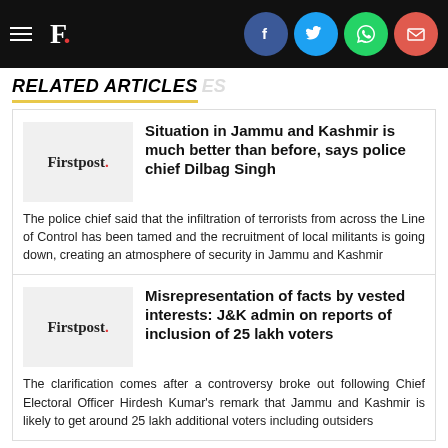F. [Firstpost logo with hamburger menu and social icons: Facebook, Twitter, WhatsApp, Email]
RELATED ARTICLES
Situation in Jammu and Kashmir is much better than before, says police chief Dilbag Singh
The police chief said that the infiltration of terrorists from across the Line of Control has been tamed and the recruitment of local militants is going down, creating an atmosphere of security in Jammu and Kashmir
Misrepresentation of facts by vested interests: J&K admin on reports of inclusion of 25 lakh voters
The clarification comes after a controversy broke out following Chief Electoral Officer Hirdesh Kumar's remark that Jammu and Kashmir is likely to get around 25 lakh additional voters including outsiders